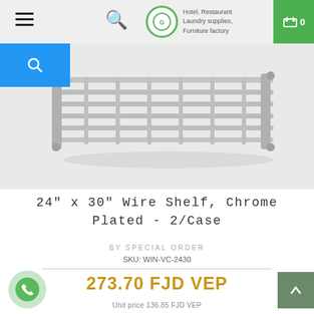Hotel, Restaurant Laundry supplies, Furniture factory
[Figure (photo): 24 inch by 30 inch chrome plated wire shelf, shown at slight angle on light gray background]
24" x 30" Wire Shelf, Chrome Plated - 2/Case
BY SPECIAL ORDER
SKU: WIN-VC-2430
273.70 FJD VEP
Unit price 136.85 FJD VEP